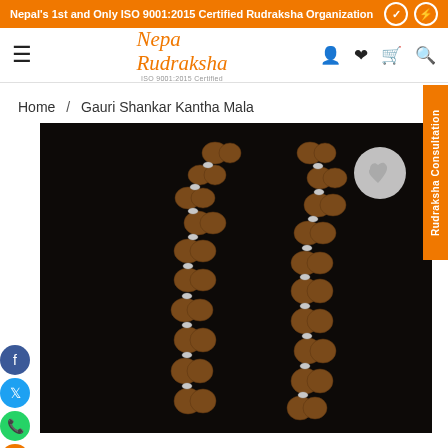Nepal's 1st and Only ISO 9001:2015 Certified Rudraksha Organization
[Figure (logo): Nepa Rudraksha logo with ISO 9001:2015 Certified text]
Home / Gauri Shankar Kantha Mala
[Figure (photo): Product photo of Gauri Shankar Kantha Mala - rudraksha beads necklace on black background]